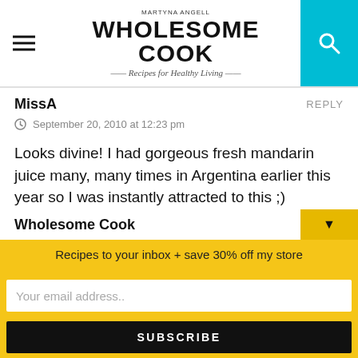MARTYNA ANGELL | WHOLESOME COOK | Recipes for Healthy Living
MissA
REPLY
September 20, 2010 at 12:23 pm
Looks divine! I had gorgeous fresh mandarin juice many, many times in Argentina earlier this year so I was instantly attracted to this ;)

(this is *anya* from vogue forum btw – hope you enjoyed the baileys pudding!)
Wholesome Cook
Recipes to your inbox + save 30% off my store
Your email address..
SUBSCRIBE